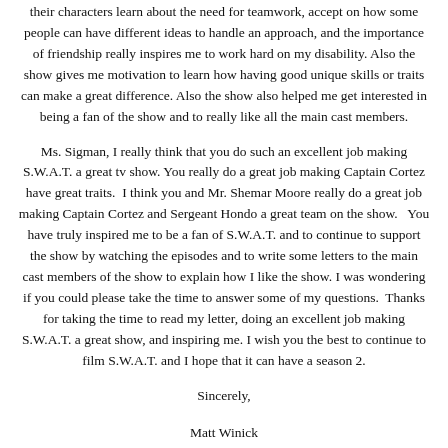their characters learn about the need for teamwork, accept on how some people can have different ideas to handle an approach, and the importance of friendship really inspires me to work hard on my disability. Also the show gives me motivation to learn how having good unique skills or traits can make a great difference. Also the show also helped me get interested in being a fan of the show and to really like all the main cast members.
Ms. Sigman, I really think that you do such an excellent job making S.W.A.T. a great tv show. You really do a great job making Captain Cortez have great traits.  I think you and Mr. Shemar Moore really do a great job making Captain Cortez and Sergeant Hondo a great team on the show.   You have truly inspired me to be a fan of S.W.A.T. and to continue to support the show by watching the episodes and to write some letters to the main cast members of the show to explain how I like the show. I was wondering if you could please take the time to answer some of my questions.  Thanks for taking the time to read my letter, doing an excellent job making S.W.A.T. a great show, and inspiring me. I wish you the best to continue to film S.W.A.T. and I hope that it can have a season 2.
Sincerely,
Matt Winick